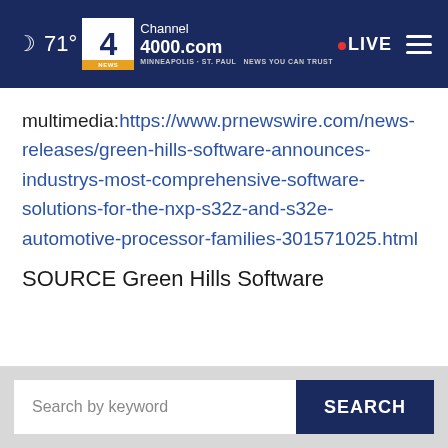71° Channel 4000.com Minneapolis · St. Paul NEWS YOU CAN TRUST • LIVE
multimedia:https://www.prnewswire.com/news-releases/green-hills-software-announces-industrys-most-comprehensive-software-solutions-for-the-nxp-s32z-and-s32e-automotive-processor-families-301571025.html
SOURCE Green Hills Software
Search by keyword SEARCH